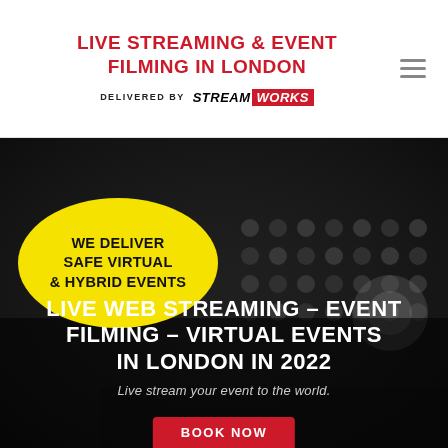LIVE STREAMING & EVENT FILMING IN LONDON
DELIVERED BY STREAMWORKS
[Figure (photo): Dark background showing an audio mixing board / keyboard in grayscale, with a yellow oval speech bubble overlay reading 'WE DELIVER SAFE VIRTUAL & HYBRID EVENTS' and white text at bottom reading 'LIVE WEB STREAMING - EVENT FILMING - VIRTUAL EVENTS IN LONDON IN 2022' with subtitle 'Live stream your event to the world.' and a partially visible red BOOK NOW button at the bottom.]